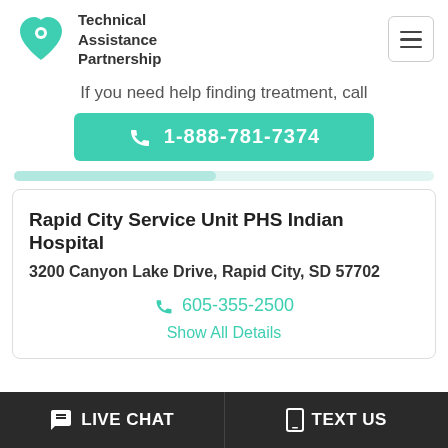[Figure (logo): Technical Assistance Partnership logo with teal heart shape and text]
If you need help finding treatment, call
1-888-781-7374
Rapid City Service Unit PHS Indian Hospital
3200 Canyon Lake Drive, Rapid City, SD 57702
605-355-2500
Show All Details
LIVE CHAT
TEXT US